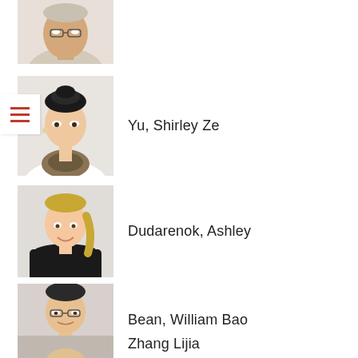[Figure (photo): Partial photo of a man with glasses and light hair, top of page, cropped]
[Figure (photo): Photo of a woman with dark hair up, wearing a scarf]
Yu, Shirley Ze
[Figure (photo): Photo of a blonde woman smiling, wearing a black top]
Dudarenok, Ashley
[Figure (photo): Photo of a young man with glasses and dark hair]
Bean, William Bao
[Figure (photo): Partial photo at bottom, person partially visible]
Zhang Lijia